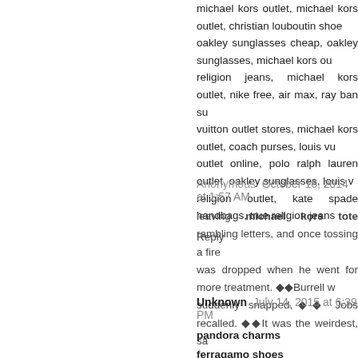michael kors outlet, michael kors outlet, christian louboutin shoes, oakley sunglasses cheap, oakley sunglasses, michael kors ou, religion jeans, michael kors outlet, nike free, air max, ray ban su, vuitton outlet stores, michael kors outlet, coach purses, louis vu, outlet online, polo ralph lauren outlet, oakley sunglasses, louis v, religion outlet, kate spade handbags, true religion jeans
Reply
Anonymous  October 16, 2014 at 1:57 AM
leaving michael kors tote rambling letters, and once tossing a fire was dropped when he went for more treatment. ◆◆Burrell w suddenly snapped,◆◆ Jobs recalled. ◆◆It was the weirdest, sa
Reply
Unknown  July 14, 2015 at 6:39 PM
pandora charms
ferragamo shoes
mcm handbags
coach outlet online
coach outlet
the north face outlet store
mulberry uk
kobe 9